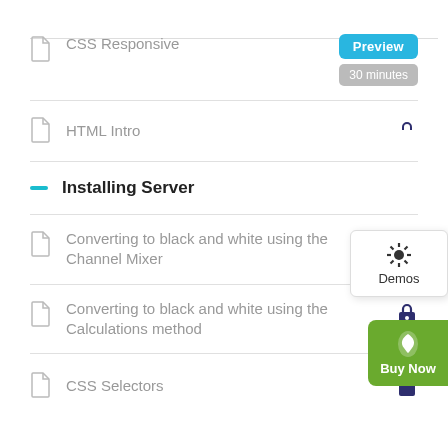CSS Responsive • Preview • 30 minutes
HTML Intro
Installing Server
Converting to black and white using the Channel Mixer
Converting to black and white using the Calculations method
CSS Selectors